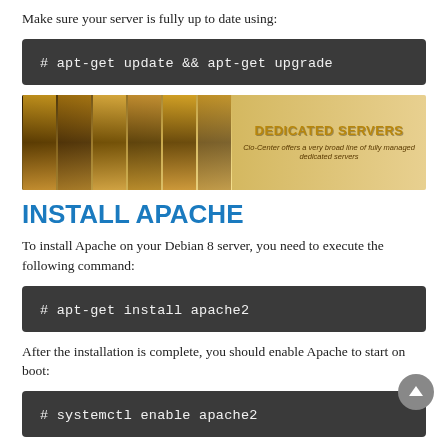Make sure your server is fully up to date using:
# apt-get update && apt-get upgrade
[Figure (photo): Advertisement banner for Dedicated Servers showing server room image on left and gold text 'DEDICATED SERVERS' with subtitle 'Cio-Center offers a very broad line of fully managed dedicated servers' on right]
INSTALL APACHE
To install Apache on your Debian 8 server, you need to execute the following command:
# apt-get install apache2
After the installation is complete, you should enable Apache to start on boot:
# systemctl enable apache2
Verify that Apache is running by opening a web browser and visiting your server IP address (http://server_ip). You should get